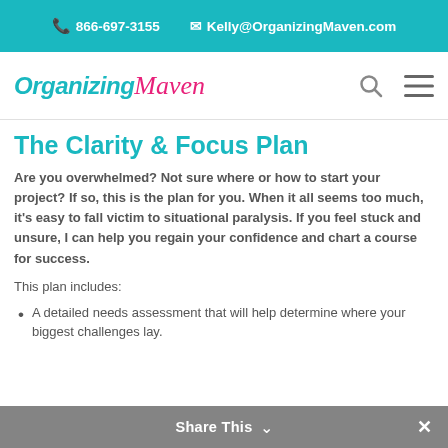📞 866-697-3155  ✉ Kelly@OrganizingMaven.com
[Figure (logo): OrganizingMaven logo with teal italic bold text for 'Organizing' and pink cursive text for 'Maven', with search and menu icons on the right]
The Clarity & Focus Plan
Are you overwhelmed? Not sure where or how to start your project? If so, this is the plan for you. When it all seems too much, it's easy to fall victim to situational paralysis. If you feel stuck and unsure, I can help you regain your confidence and chart a course for success.
This plan includes:
A detailed needs assessment that will help determine where your biggest challenges lay.
Share This  ˅  ✕